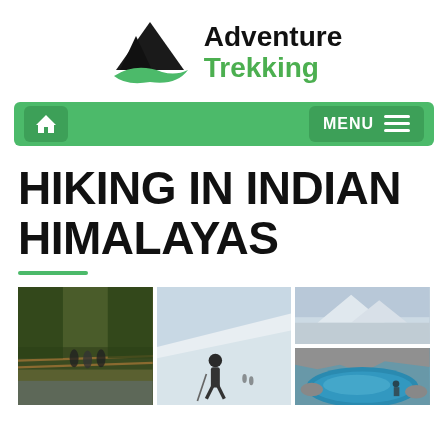[Figure (logo): Adventure Trekking logo: black mountain silhouette with green swoosh beneath it, next to text 'Adventure Trekking' with Trekking in green]
[Figure (screenshot): Green navigation bar with home icon button on left and MENU button with hamburger icon on right]
HIKING IN INDIAN HIMALAYAS
[Figure (photo): Three side-by-side outdoor/hiking photos: left shows people on a bridge in a forest gorge, center shows a person hiking on snowy mountain terrain, right shows two stacked images - top is snowy mountain landscape and bottom is a bright blue mountain lake with rocky terrain]